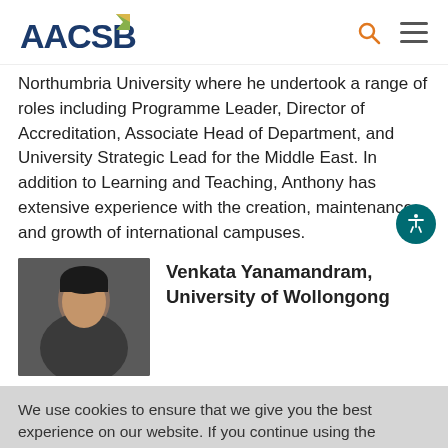AACSB
Northumbria University where he undertook a range of roles including Programme Leader, Director of Accreditation, Associate Head of Department, and University Strategic Lead for the Middle East. In addition to Learning and Teaching, Anthony has extensive experience with the creation, maintenance, and growth of international campuses.
Venkata Yanamandram, University of Wollongong
[Figure (photo): Portrait photo of Venkata Yanamandram]
We use cookies to ensure that we give you the best experience on our website. If you continue using the website, we will assume that you are satisfied receiving all cookies on the AACSB website. However, if you would like to, you can disable these cookies in your browser at any time.View Our Full Cookie Policy